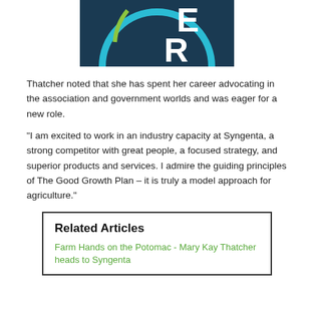[Figure (logo): Bayer/Syngenta-style circular logo on dark navy background showing partial letters E and R with blue circle and green accent arc, white letters]
Thatcher noted that she has spent her career advocating in the association and government worlds and was eager for a new role.
"I am excited to work in an industry capacity at Syngenta, a strong competitor with great people, a focused strategy, and superior products and services. I admire the guiding principles of The Good Growth Plan – it is truly a model approach for agriculture."
Related Articles
Farm Hands on the Potomac - Mary Kay Thatcher heads to Syngenta